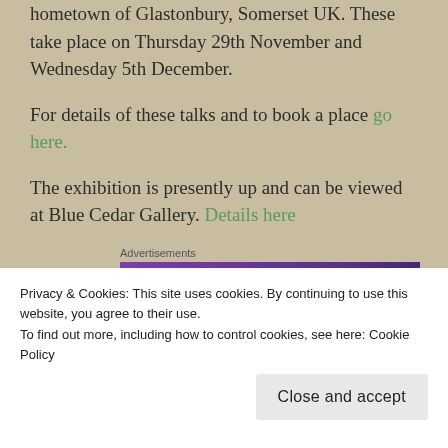hometown of Glastonbury, Somerset UK. These take place on Thursday 29th November and Wednesday 5th December.
For details of these talks and to book a place go here.
The exhibition is presently up and can be viewed at Blue Cedar Gallery. Details here
Advertisements
[Figure (screenshot): WooCommerce advertisement banner with purple gradient background and white WooCommerce logo]
Privacy & Cookies: This site uses cookies. By continuing to use this website, you agree to their use.
To find out more, including how to control cookies, see here: Cookie Policy
Close and accept